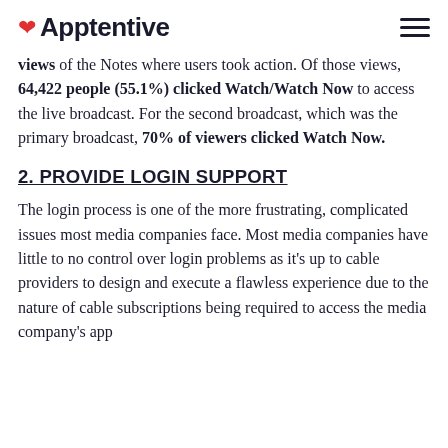Apptentive
views of the Notes where users took action. Of those views, 64,422 people (55.1%) clicked Watch/Watch Now to access the live broadcast. For the second broadcast, which was the primary broadcast, 70% of viewers clicked Watch Now.
2. PROVIDE LOGIN SUPPORT
The login process is one of the more frustrating, complicated issues most media companies face. Most media companies have little to no control over login problems as it's up to cable providers to design and execute a flawless experience due to the nature of cable subscriptions being required to access the media company's app